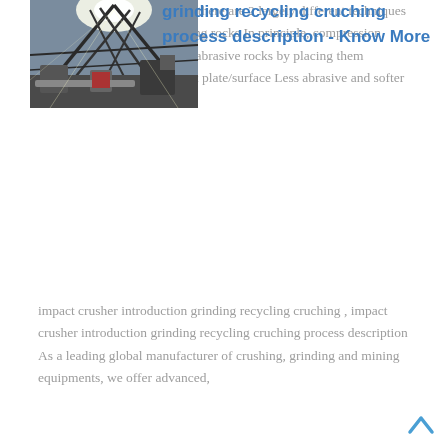geometallurgy to be crushed, there are 2 largely different techniques at your disposition for crushing rocks In principle, compression crushing is used on hard and abrasive rocks by placing them between a high wear-resistant plate/surface Less abrasive and softer rocks or stones ....
[Figure (photo): Industrial crushing/grinding facility interior with conveyor belts and machinery, sunlight streaming through roof]
grinding recycling cruching process description - Know More
impact crusher introduction grinding recycling cruching , impact crusher introduction grinding recycling cruching process description As a leading global manufacturer of crushing, grinding and mining equipments, we offer advanced,